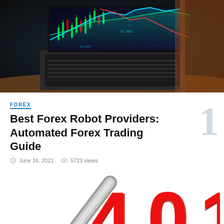[Figure (photo): Laptop with holographic forex trading charts and candlestick graphs displayed in blue and green tones on a dark background]
FOREX
Best Forex Robot Providers: Automated Forex Trading Guide
June 16, 2021  5723 views
[Figure (illustration): Metallic checkmark graphic alongside red 3D text showing '401' (partially visible), representing a count of forex robot providers]